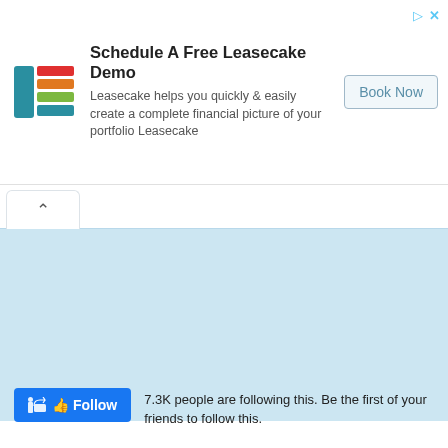[Figure (logo): Leasecake logo: stacked colored horizontal bars (teal, red, orange, green, teal) forming a layered cake shape in a square icon]
Schedule A Free Leasecake Demo
Leasecake helps you quickly & easily create a complete financial picture of your portfolio Leasecake
Book Now
[Figure (screenshot): Light blue panel area with a white tab containing an up-arrow (chevron) at the top left, and a large light blue content area below]
7.3K people are following this. Be the first of your friends to follow this.